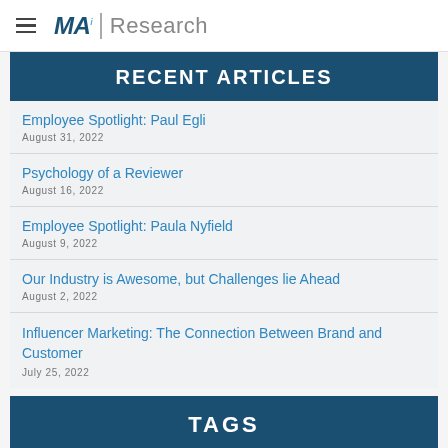MAi Research
RECENT ARTICLES
Employee Spotlight: Paul Egli
August 31, 2022
Psychology of a Reviewer
August 16, 2022
Employee Spotlight: Paula Nyfield
August 9, 2022
Our Industry is Awesome, but Challenges lie Ahead
August 2, 2022
Influencer Marketing: The Connection Between Brand and Customer
July 25, 2022
TAGS